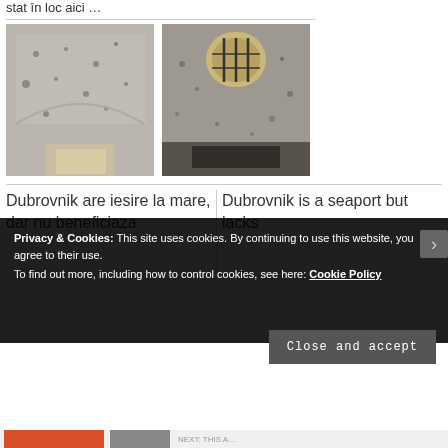stat în loc aici …
[Figure (photo): Interior of a deteriorated stone building looking up at a vaulted ceiling with damage marks]
[Figure (photo): Interior of a deteriorated stone room with barred arched window, damaged walls]
Dubrovnik are iesire la mare, dar nu beneficiaza ...
Dubrovnik is a seaport but lacks ...
Privacy & Cookies: This site uses cookies. By continuing to use this website, you agree to their use.
To find out more, including how to control cookies, see here: Cookie Policy
Close and accept